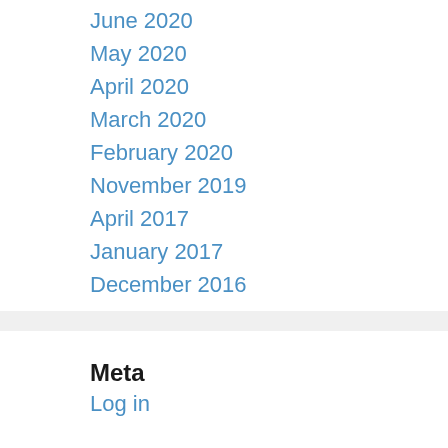June 2020
May 2020
April 2020
March 2020
February 2020
November 2019
April 2017
January 2017
December 2016
Meta
Log in